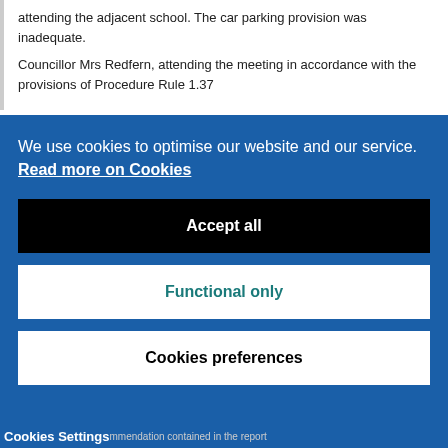attending the adjacent school. The car parking provision was inadequate.
Councillor Mrs Redfern, attending the meeting in accordance with the provisions of Procedure Rule 1.37
We use cookies to optimise our website and our service.  Read more on Cookies
Accept all
Functional only
Cookies preferences
Cookies Settings   mmendation contained in the report